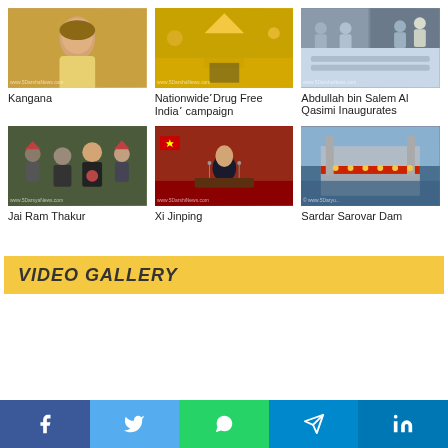[Figure (photo): Kangana Ranaut portrait photo]
Kangana
[Figure (photo): Nationwide Drug Free India campaign event]
NationwideʼDrug Free Indiaʼ campaign
[Figure (photo): Abdullah bin Salem Al Qasimi Inaugurates event]
Abdullah bin Salem Al Qasimi Inaugurates
[Figure (photo): Jai Ram Thakur with supporters]
Jai Ram Thakur
[Figure (photo): Xi Jinping speaking at podium]
Xi Jinping
[Figure (photo): Sardar Sarovar Dam aerial view]
Sardar Sarovar Dam
VIDEO GALLERY